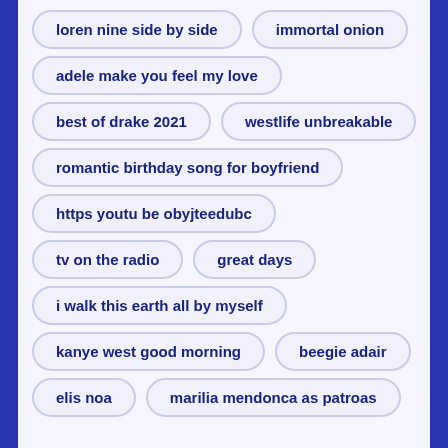loren nine side by side
immortal onion
adele make you feel my love
best of drake 2021
westlife unbreakable
romantic birthday song for boyfriend
https youtu be obyjteedubc
tv on the radio
great days
i walk this earth all by myself
kanye west good morning
beegie adair
elis noa
marilia mendonca as patroas